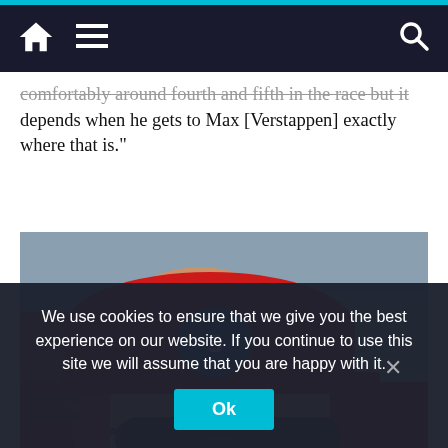Navigation bar with home icon, menu icon, and search icon
comfortably around fourth and fifth in the race but it depends when he gets to Max [Verstappen] exactly where that is.”
[Figure (photo): Close-up photo of a racing driver wearing a red Ferrari cap with sunglasses, bearded, in a red racing suit, with people and a building in the background]
We use cookies to ensure that we give you the best experience on our website. If you continue to use this site we will assume that you are happy with it.